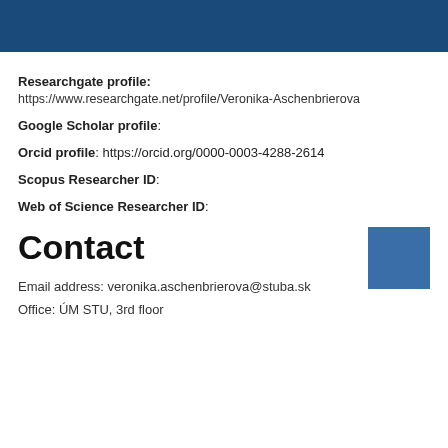Researchgate profile: https://www.researchgate.net/profile/Veronika-Aschenbrierova
Google Scholar profile:
Orcid profile: https://orcid.org/0000-0003-4288-2614
Scopus Researcher ID:
Web of Science Researcher ID:
Contact
Email address: veronika.aschenbrierova@stuba.sk
Office: ÚM STU, 3rd floor